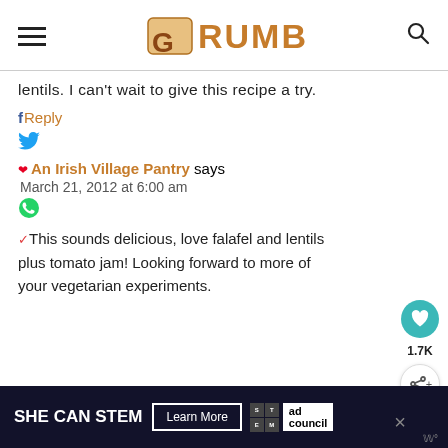CRUMB
lentils. I can't wait to give this recipe a try.
f Reply
🐦 (Twitter icon)
An Irish Village Pantry says March 21, 2012 at 6:00 am
This sounds delicious, love falafel and lentils plus tomato jam! Looking forward to more of your vegetarian experiments.
[Figure (screenshot): SHE CAN STEM advertisement banner with Learn More button and ad council logo]